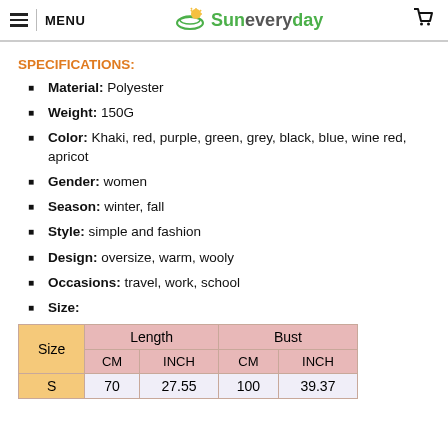MENU | Suneveryday [cart icon]
SPECIFICATIONS:
Material: Polyester
Weight: 150G
Color: Khaki, red, purple, green, grey, black, blue, wine red, apricot
Gender: women
Season: winter, fall
Style: simple and fashion
Design: oversize, warm, wooly
Occasions: travel, work, school
Size:
| Size | Length CM | Length INCH | Bust CM | Bust INCH |
| --- | --- | --- | --- | --- |
| S | 70 | 27.55 | 100 | 39.37 |